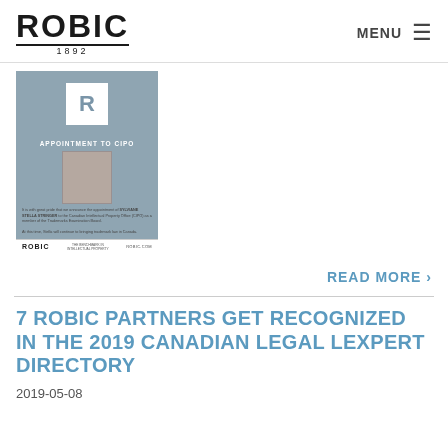ROBIC 1892 | MENU
[Figure (illustration): ROBIC branded card showing 'APPOINTMENT TO CIPO' with a photo of a woman, text about Sylviane Stella Stringer appointed to CIPO Trademarks Examination Board, and ROBIC footer with 'THE BENCHMARK IN INTELLECTUAL PROPERTY' and robic.com]
READ MORE >
7 ROBIC PARTNERS GET RECOGNIZED IN THE 2019 CANADIAN LEGAL LEXPERT DIRECTORY
2019-05-08